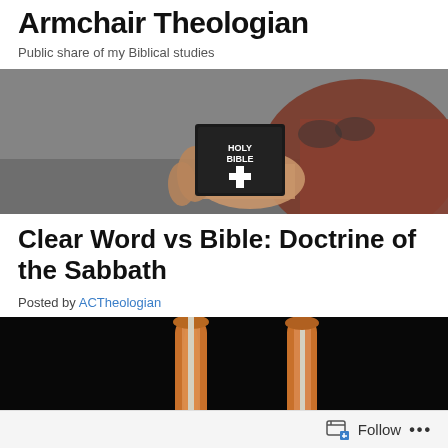Armchair Theologian
Public share of my Biblical studies
[Figure (photo): Person holding a Holy Bible book, wearing a reddish jacket, viewed from the side]
Clear Word vs Bible: Doctrine of the Sabbath
Posted by ACTheologian
[Figure (photo): Two wooden scroll rods on a dark black background, representing a Torah scroll or similar religious scroll]
Follow ...